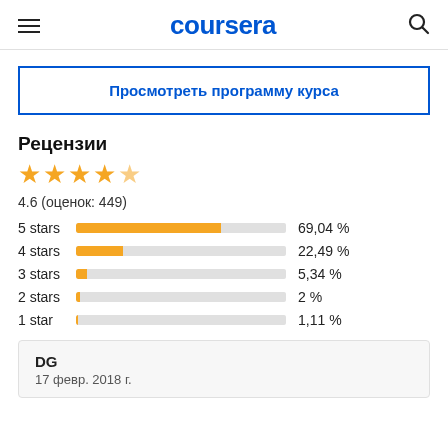coursera
Просмотреть программу курса
Рецензии
[Figure (bar-chart): Ratings distribution]
4.6 (оценок: 449)
DG
17 февр. 2018 г.